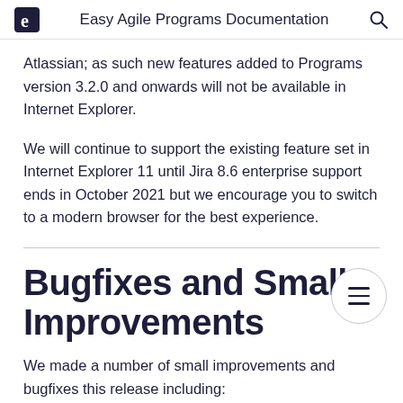Easy Agile Programs Documentation
Atlassian; as such new features added to Programs version 3.2.0 and onwards will not be available in Internet Explorer.
We will continue to support the existing feature set in Internet Explorer 11 until Jira 8.6 enterprise support ends in October 2021 but we encourage you to switch to a modern browser for the best experience.
Bugfixes and Small Improvements
We made a number of small improvements and bugfixes this release including: